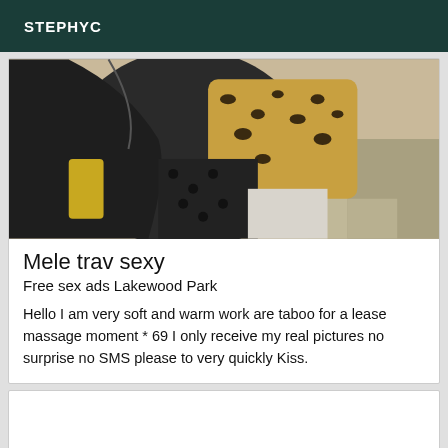STEPHYC
[Figure (photo): A person wearing a black jacket and leopard print top photographed from below/mid torso angle]
Mele trav sexy
Free sex ads Lakewood Park
Hello I am very soft and warm work are taboo for a lease massage moment * 69 I only receive my real pictures no surprise no SMS please to very quickly Kiss.